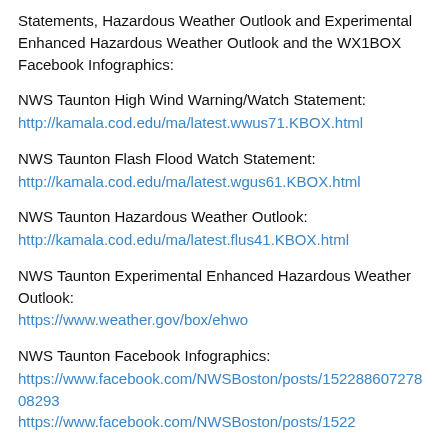Statements, Hazardous Weather Outlook and Experimental Enhanced Hazardous Weather Outlook and the WX1BOX Facebook Infographics:
NWS Taunton High Wind Warning/Watch Statement:
http://kamala.cod.edu/ma/latest.wwus71.KBOX.html
NWS Taunton Flash Flood Watch Statement:
http://kamala.cod.edu/ma/latest.wgus61.KBOX.html
NWS Taunton Hazardous Weather Outlook:
http://kamala.cod.edu/ma/latest.flus41.KBOX.html
NWS Taunton Experimental Enhanced Hazardous Weather Outlook:
https://www.weather.gov/box/ehwo
NWS Taunton Facebook Infographics:
https://www.facebook.com/NWSBoston/posts/15228860727808293
https://www.facebook.com/NWSBoston/posts/1522